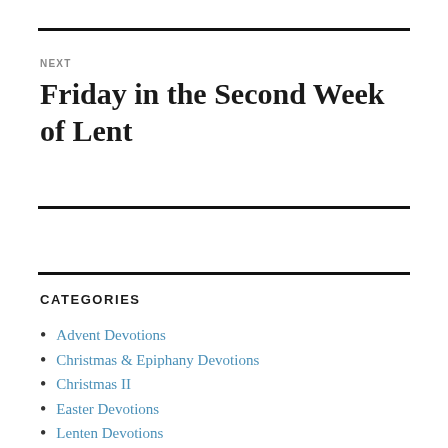NEXT
Friday in the Second Week of Lent
CATEGORIES
Advent Devotions
Christmas & Epiphany Devotions
Christmas II
Easter Devotions
Lenten Devotions